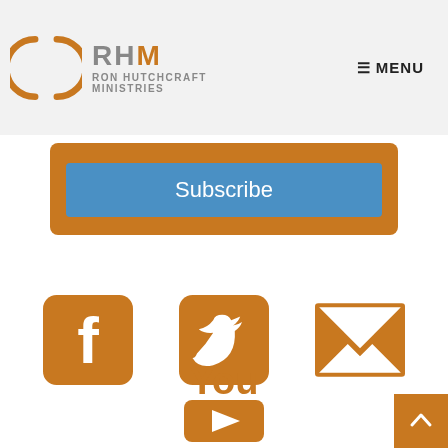[Figure (logo): Ron Hutchcraft Ministries logo with orange arc circle, RHM letters in gray, and text RON HUTCHCRAFT MINISTRIES]
≡ MENU
Subscribe
[Figure (illustration): Facebook icon - orange rounded square with white F]
[Figure (illustration): Twitter icon - orange rounded square with white bird]
[Figure (illustration): Email icon - orange envelope shape]
[Figure (illustration): YouTube logo text 'You' in orange bold, partially visible]
[Figure (illustration): Scroll to top button - orange square with white up arrow, bottom right corner]